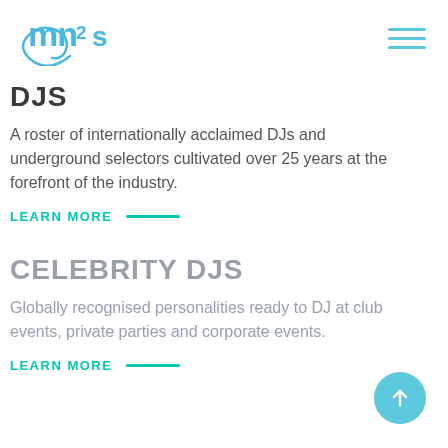[Figure (logo): mn2s logo in blue with swirl graphic]
DJS
A roster of internationally acclaimed DJs and underground selectors cultivated over 25 years at the forefront of the industry.
LEARN MORE —
CELEBRITY DJS
Globally recognised personalities ready to DJ at club events, private parties and corporate events.
LEARN MORE —